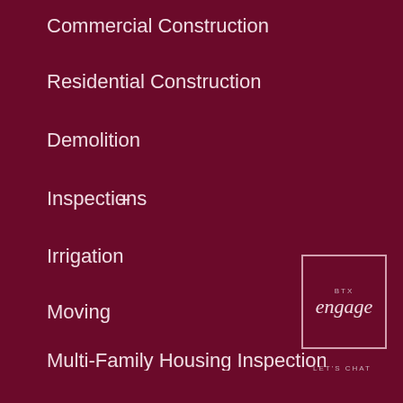Commercial Construction
Residential Construction
Demolition
Inspections
Irrigation
Moving
Multi-Family Housing Inspection Pro
Pools
Solar Energy Systems
[Figure (logo): BTX Engage logo with text 'engage' in italic script and 'LET'S CHAT' below, enclosed in a rectangular border]